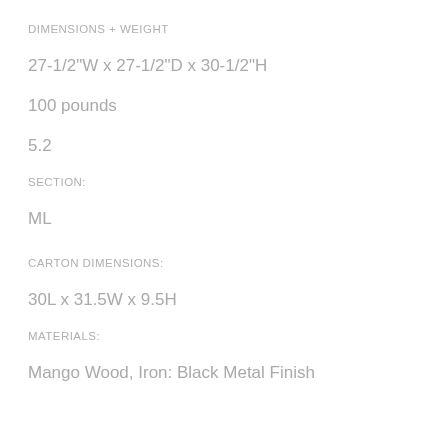DIMENSIONS + WEIGHT
27-1/2"W x 27-1/2"D x 30-1/2"H
100 pounds
5.2
SECTION:
ML
CARTON DIMENSIONS:
30L x 31.5W x 9.5H
MATERIALS:
Mango Wood, Iron: Black Metal Finish